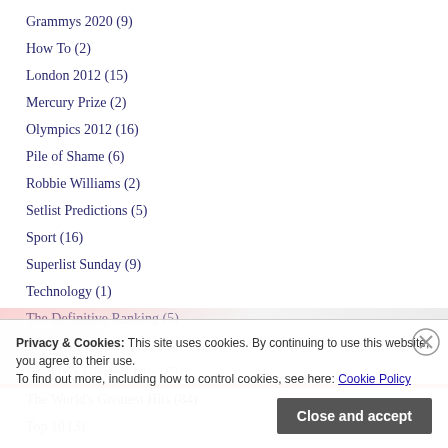Grammys 2020 (9)
How To (2)
London 2012 (15)
Mercury Prize (2)
Olympics 2012 (16)
Pile of Shame (6)
Robbie Williams (2)
Setlist Predictions (5)
Sport (16)
Superlist Sunday (9)
Technology (1)
The Definitive Ranking (5)
The Final Fantasy (7)
The UK's Greatest Hits (63)
The World's Greatest Hits (84)
Top 10 (3)
Privacy & Cookies: This site uses cookies. By continuing to use this website, you agree to their use. To find out more, including how to control cookies, see here: Cookie Policy
Close and accept